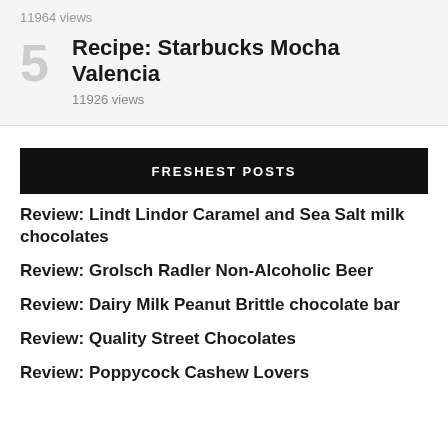11964 views
5 Recipe: Starbucks Mocha Valencia
11926 views
FRESHEST POSTS
Review: Lindt Lindor Caramel and Sea Salt milk chocolates
Review: Grolsch Radler Non-Alcoholic Beer
Review: Dairy Milk Peanut Brittle chocolate bar
Review: Quality Street Chocolates
Review: Poppycock Cashew Lovers